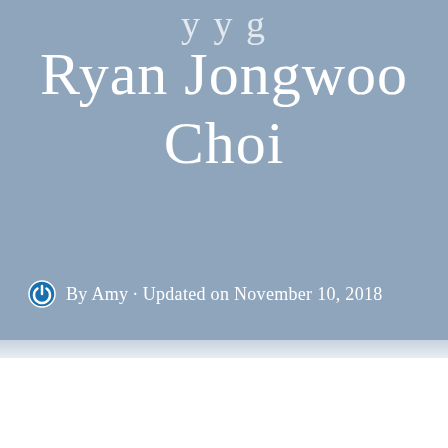Ryan Jongwoo Choi
By Amy · Updated on November 10, 2018